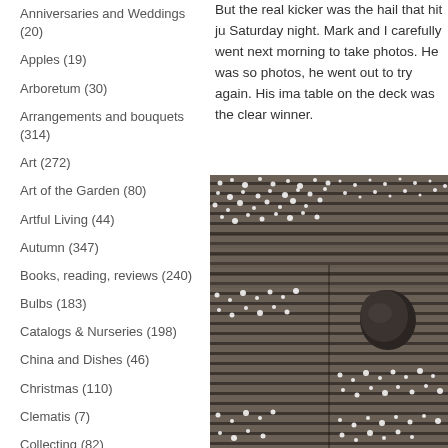Anniversaries and Weddings (20)
Apples (19)
Arboretum (30)
Arrangements and bouquets (314)
Art (272)
Art of the Garden (80)
Artful Living (44)
Autumn (347)
Books, reading, reviews (240)
Bulbs (183)
Catalogs & Nurseries (198)
China and Dishes (46)
Christmas (110)
Clematis (7)
Collecting (82)
Color (408)
Cookbooks (25)
Cooking and Food (121)
But the real kicker was the hail that hit ju Saturday night. Mark and I carefully went next morning to take photos. He was so photos, he went out to try again. His ima table on the deck was the clear winner.
[Figure (photo): Close-up photo of a wooden slatted deck or table covered with small white hail stones, with a dark rounded stone or object visible in the upper right area.]